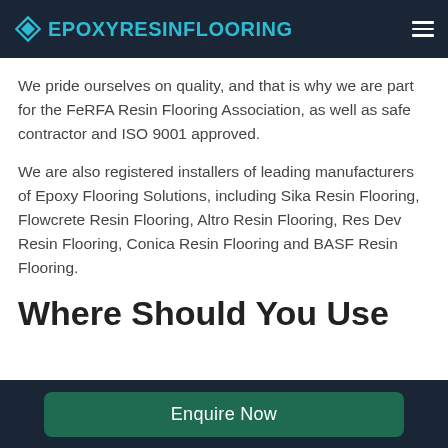EPOXYRESINFLOORING
We pride ourselves on quality, and that is why we are part for the FeRFA Resin Flooring Association, as well as safe contractor and ISO 9001 approved.
We are also registered installers of leading manufacturers of Epoxy Flooring Solutions, including Sika Resin Flooring, Flowcrete Resin Flooring, Altro Resin Flooring, Res Dev Resin Flooring, Conica Resin Flooring and BASF Resin Flooring.
Where Should You Use
Enquire Now